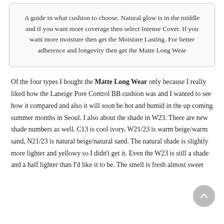A guide in what cushion to choose. Natural glow is in the middle and if you want more coverage then select Intense Cover. If you want more moisture then get the Moisture Lasting. For better adherence and longevity then get the Matte Long Wear
Of the four types I bought the Matte Long Wear only because I really liked how the Laneige Pore Control BB cushion was and I wanted to see how it compared and also it will soon be hot and humid in the up coming summer months in Seoul. I also about the shade in W23. There are new shade numbers as well. C13 is cool ivory, W21/23 is warm beige/warm sand, N21/23 is natural beige/natural sand. The natural shade is slightly more lighter and yellowy so I didn't get it. Even the W23 is still a shade and a half lighter than I'd like it to be. The smell is fresh almost sweet